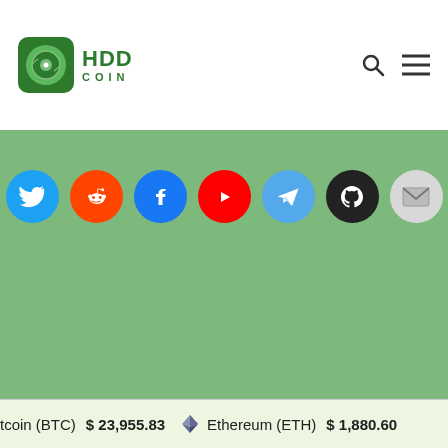[Figure (logo): HDD Coin logo with green circular icon and HDD COIN text]
[Figure (infographic): Row of social media icon buttons: Twitter (blue), Reddit (orange), Facebook (blue), YouTube (red), Telegram (light blue), GitHub (black), Email (light grey)]
© 2021 HDDcoin Network. All Rights Reserved.
Home  Download  Pooling  Explorer  Blog
WebMail
tcoin (BTC)  $ 23,955.83  Ethereum (ETH)  $ 1,880.60